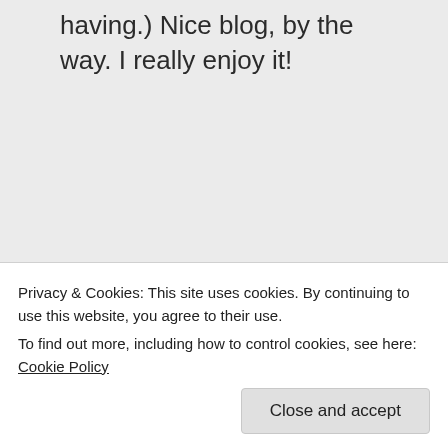having.) Nice blog, by the way. I really enjoy it!
↳ Reply
Ned's Blog on August
Privacy & Cookies: This site uses cookies. By continuing to use this website, you agree to their use.
To find out more, including how to control cookies, see here: Cookie Policy
Close and accept